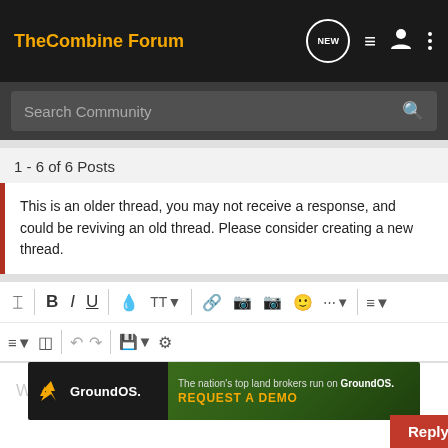The Combine Forum
Search Community
1 - 6 of 6 Posts
This is an older thread, you may not receive a response, and could be reviving an old thread. Please consider creating a new thread.
[Figure (screenshot): Text editor toolbar with formatting icons: eraser, bold B, italic I, underline U, separator, color drop, text size TT with dropdown, link chain, image, camera, emoji, more (...) with dropdown, align with dropdown; second row: list with dropdown, table grid, undo, redo, save with dropdown, settings gear]
Write your reply...
[Figure (infographic): GroundOS advertisement banner: GroundOS logo on dark background left, aerial farmland photo right with text 'The nation's top land brokers run on GroundOS. REQUEST A DEMO']
Reply